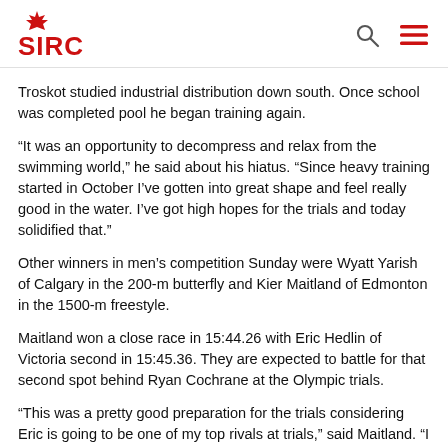SIRC
Troskot studied industrial distribution down south. Once school was completed pool he began training again.
“It was an opportunity to decompress and relax from the swimming world,” he said about his hiatus. “Since heavy training started in October I’ve gotten into great shape and feel really good in the water. I’ve got high hopes for the trials and today solidified that.”
Other winners in men’s competition Sunday were Wyatt Yarish of Calgary in the 200-m butterfly and Kier Maitland of Edmonton in the 1500-m freestyle.
Maitland won a close race in 15:44.26 with Eric Hedlin of Victoria second in 15:45.36. They are expected to battle for that second spot behind Ryan Cochrane at the Olympic trials.
“This was a pretty good preparation for the trials considering Eric is going to be one of my top rivals at trials,” said Maitland. “I compared this race to where I was at last year and I’m on pace to do the best race of